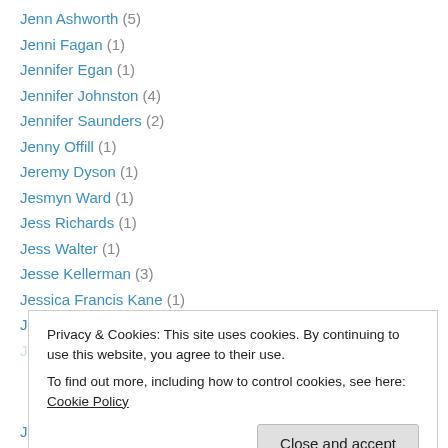Jenn Ashworth (5)
Jenni Fagan (1)
Jennifer Egan (1)
Jennifer Johnston (4)
Jennifer Saunders (2)
Jenny Offill (1)
Jeremy Dyson (1)
Jesmyn Ward (1)
Jess Richards (1)
Jess Walter (1)
Jesse Kellerman (3)
Jessica Francis Kane (1)
Jessica Mitford (1)
Privacy & Cookies: This site uses cookies. By continuing to use this website, you agree to their use. To find out more, including how to control cookies, see here: Cookie Policy
Jo Nesbo (1)